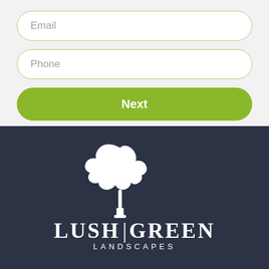Email
Phone
Next
[Figure (logo): Lush Green Landscapes logo with white tree silhouette on dark navy background, company name in white serif letters with vertical divider bar between LUSH and GREEN, and LANDSCAPES in small caps below]